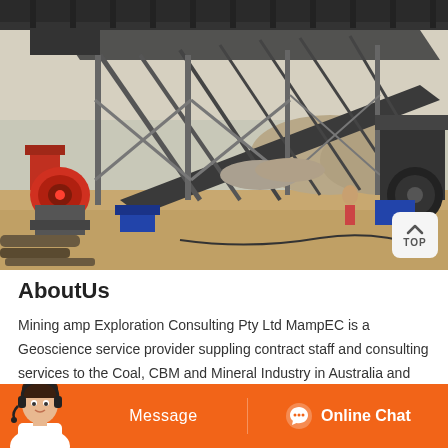[Figure (photo): Outdoor mining/quarry site with large conveyor belts, crushing machinery (jaw crusher on left, cone crusher on right), metal scaffolding, and dusty ground. Industrial equipment in an arid environment.]
AboutUs
Mining amp Exploration Consulting Pty Ltd MampEC is a Geoscience service provider suppling contract staff and consulting services to the Coal, CBM and Mineral Industry in Australia and overseas. Our client b...
[Figure (screenshot): Bottom orange bar UI with headset woman icon on left, Message button in center-left, Online Chat button with chat icon on right.]